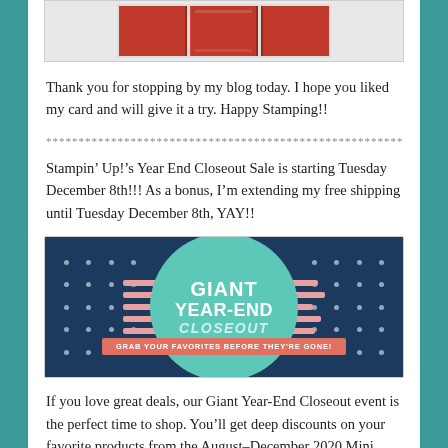[Figure (photo): Red card/panels image at the top of the page]
Thank you for stopping by my blog today. I hope you liked my card and will give it a try. Happy Stamping!!
******************************************************************************
Stampin’ Up!’s Year End Closeout Sale is starting Tuesday December 8th!!! As a bonus, I’m extending my free shipping until Tuesday December 8th, YAY!!
[Figure (illustration): Giant Year-End Closeout promotional banner with teal circle badge on dark navy background with dots and pink lines. Text reads: GIANT YEAR-END CLOSEOUT, GRAB YOUR FAVORITES BEFORE THEY'RE GONE!]
If you love great deals, our Giant Year-End Closeout event is the perfect time to shop. You’ll get deep discounts on your favorite products from the August–December 2020 Mini Catalog. The Year-End Closeout happens only once